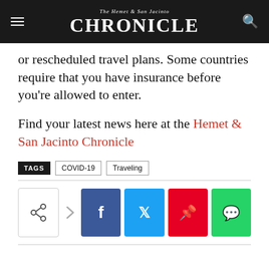The Hemet & San Jacinto CHRONICLE
or rescheduled travel plans. Some countries require that you have insurance before you're allowed to enter.
Find your latest news here at the Hemet & San Jacinto Chronicle
TAGS  COVID-19  Traveling